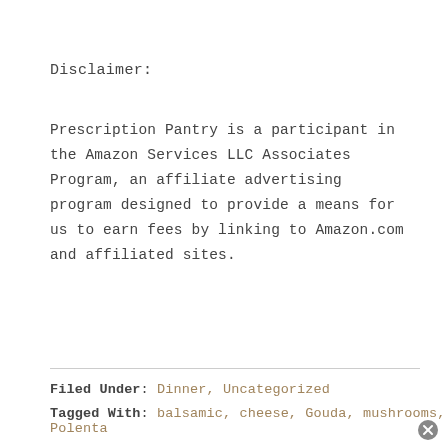Disclaimer:
Prescription Pantry is a participant in the Amazon Services LLC Associates Program, an affiliate advertising program designed to provide a means for us to earn fees by linking to Amazon.com and affiliated sites.
Filed Under: Dinner, Uncategorized
Tagged With: balsamic, cheese, Gouda, mushrooms, Polenta